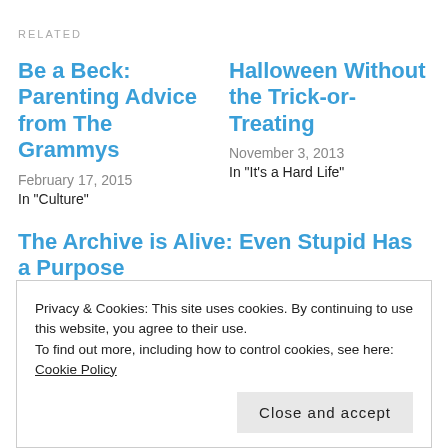RELATED
Be a Beck: Parenting Advice from The Grammys
February 17, 2015
In "Culture"
Halloween Without the Trick-or-Treating
November 3, 2013
In "It's a Hard Life"
The Archive is Alive: Even Stupid Has a Purpose
February 5, 2014
Privacy & Cookies: This site uses cookies. By continuing to use this website, you agree to their use.
To find out more, including how to control cookies, see here: Cookie Policy
Close and accept